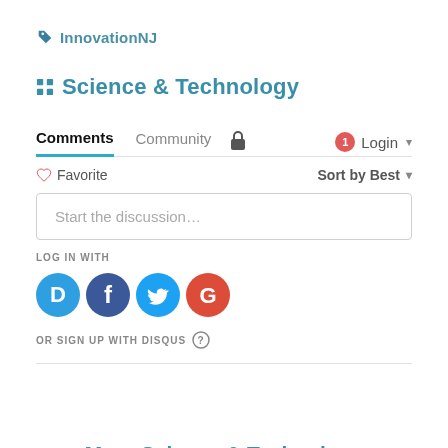InnovationNJ
Science & Technology
Comments  Community  🔒  1  Login ▾
♡ Favorite    Sort by Best ▾
Start the discussion…
LOG IN WITH
[Figure (infographic): Social login icons: Disqus (blue circle D), Facebook (dark blue circle f), Twitter (light blue circle bird), Google (red circle G)]
OR SIGN UP WITH DISQUS ?
More Science & Technology